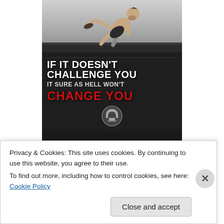[Figure (photo): Motivational fitness/sports poster showing an athlete (man with beard, shirtless in black shorts) climbing over an obstacle, set against a dark gritty background. The poster text reads: IF IT DOESN'T CHALLENGE YOU IT SURE AS HELL WON'T CHANGE YOU, with 'CHANGE YOU' in red. There is a Spartan Race-style logo at the bottom.]
Privacy & Cookies: This site uses cookies. By continuing to use this website, you agree to their use.
To find out more, including how to control cookies, see here: Cookie Policy
Close and accept